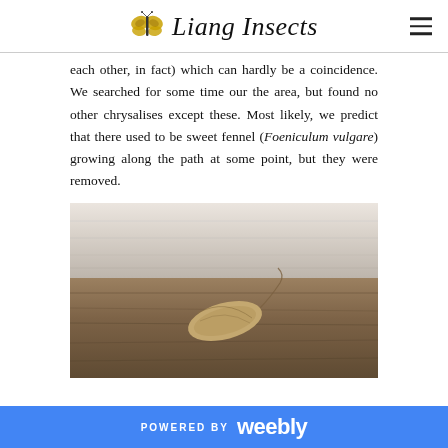Liang Insects
each other, in fact) which can hardly be a coincidence. We searched for some time our the area, but found no other chrysalises except these. Most likely, we predict that there used to be sweet fennel (Foeniculum vulgare) growing along the path at some point, but they were removed.
[Figure (photo): A photograph showing a chrysalis attached to weathered wooden boards. The top portion shows whitewashed/pale wood planks and the bottom shows darker brown wood grain. A tan/brown chrysalis is visible in the lower portion of the image.]
POWERED BY weebly